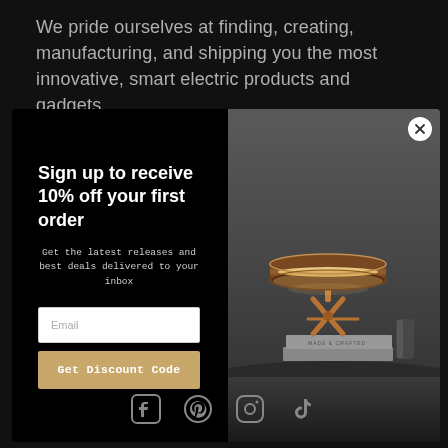We pride ourselves at finding, creating, manufacturing, and shipping you the most innovative, smart electric products and gadgets.
[Figure (screenshot): Popup modal with black left panel showing email signup form for 10% off first order, and right panel showing a decorative lamp photograph on dark background]
Sign up to receive 10% off your first order
Get the latest releases and best deals delivered to your inbox
[Figure (infographic): Social media icons row: Facebook, Pinterest, Instagram, TikTok]